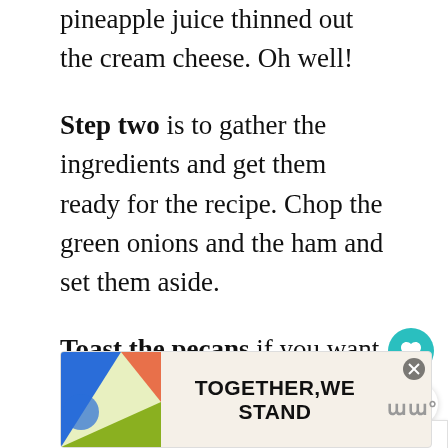pineapple juice thinned out the cream cheese. Oh well!
Step two is to gather the ingredients and get them ready for the recipe. Chop the green onions and the ham and set them aside.
Toast the pecans if you want to; they bring more flavor to the final product. Set them aside and allow them to co…
[Figure (other): TOGETHER WE STAND advertisement banner with colorful abstract shapes]
[Figure (other): Wordmark logo in gray]